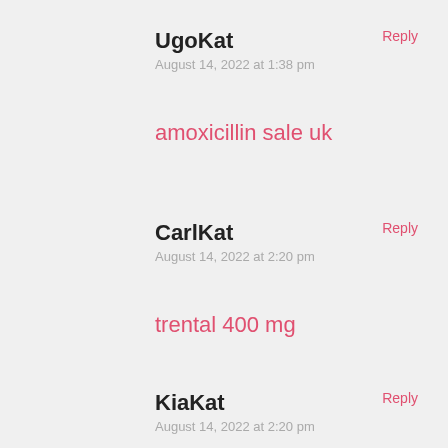UgoKat
August 14, 2022 at 1:38 pm
Reply
amoxicillin sale uk
CarlKat
August 14, 2022 at 2:20 pm
Reply
trental 400 mg
KiaKat
August 14, 2022 at 2:20 pm
Reply